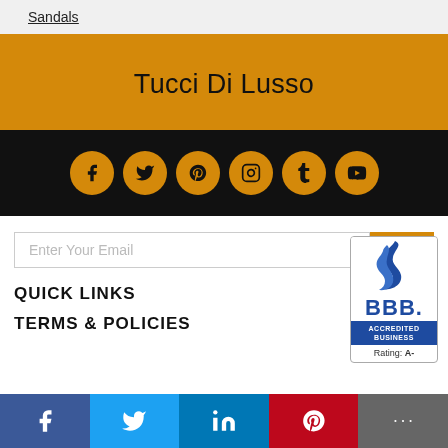Sandals
Tucci Di Lusso
[Figure (infographic): Social media icons bar on black background: Facebook, Twitter, Pinterest, Instagram, Tumblr, YouTube — all in orange circles]
[Figure (infographic): Email newsletter signup bar with 'Enter Your Email' placeholder input and orange GO button]
[Figure (logo): BBB Accredited Business logo with blue flame icon, BBB text, Rating: A-]
QUICK LINKS
TERMS & POLICIES
[Figure (infographic): Social share bar at bottom: Facebook (blue), Twitter (light blue), LinkedIn (dark blue), Pinterest (red), more (grey)]